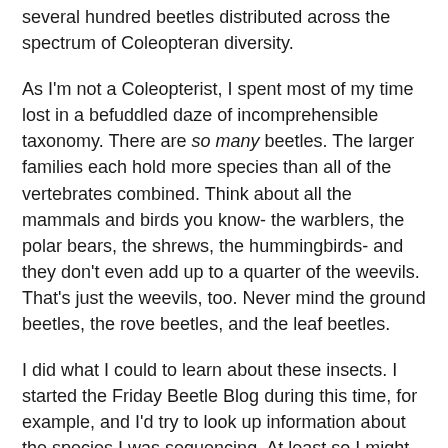several hundred beetles distributed across the spectrum of Coleopteran diversity.
As I'm not a Coleopterist, I spent most of my time lost in a befuddled daze of incomprehensible taxonomy. There are so many beetles. The larger families each hold more species than all of the vertebrates combined. Think about all the mammals and birds you know- the warblers, the polar bears, the shrews, the hummingbirds- and they don't even add up to a quarter of the weevils. That's just the weevils, too. Never mind the ground beetles, the rove beetles, and the leaf beetles.
I did what I could to learn about these insects. I started the Friday Beetle Blog during this time, for example, and I'd try to look up information about the species I was sequencing. At least so I might know what they looked like.